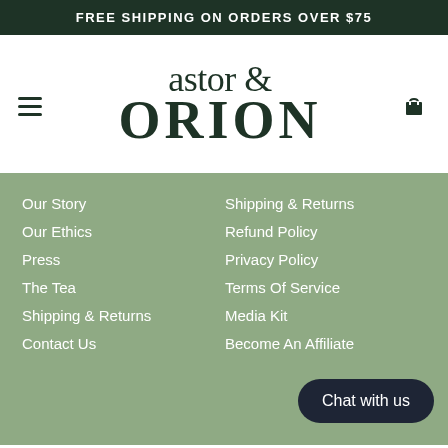FREE SHIPPING ON ORDERS OVER $75
[Figure (logo): Astor & Orion brand logo in dark green serif font]
Our Story
Our Ethics
Press
The Tea
Shipping & Returns
Contact Us
Shipping & Returns
Refund Policy
Privacy Policy
Terms Of Service
Media Kit
Become An Affiliate
Chat with us